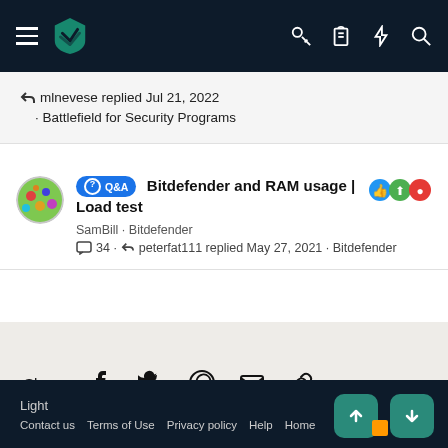Malwarebytes Forums – navigation bar with hamburger menu, logo, key, clipboard, lightning, and search icons
mlnevese replied Jul 21, 2022 · Battlefield for Security Programs
Q&A Bitdefender and RAM usage | Load test
SamBill · Bitdefender
34 · peterfat111 replied May 27, 2021 · Bitdefender
Share: [Facebook] [Twitter] [WhatsApp] [Email] [Link]
Light
Contact us   Terms of Use   Privacy policy   Help   Home